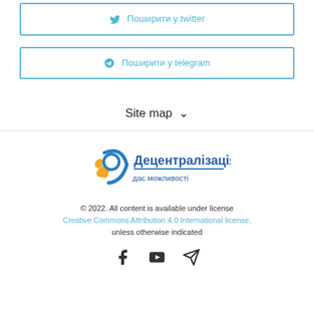[Figure (other): Twitter share button with bird icon and text 'Поширити у twitter']
[Figure (other): Telegram share button with plane icon and text 'Поширити у telegram']
Site map ∨
[Figure (logo): Decentralization logo - Децентралізація дає можливості with colorful circular emblem]
© 2022. All content is available under license Creative Commons Attribution 4.0 International license, unless otherwise indicated
[Figure (other): Social media icons: Facebook, YouTube, Telegram]